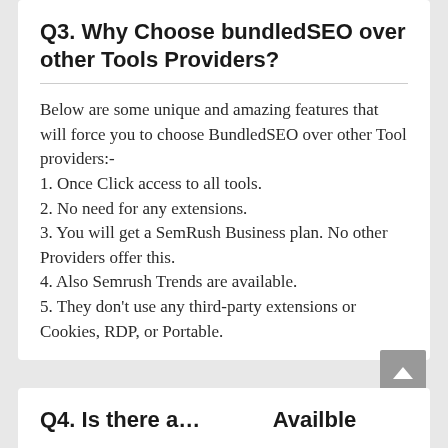Q3. Why Choose bundledSEO over other Tools Providers?
Below are some unique and amazing features that will force you to choose BundledSEO over other Tool providers:-
1. Once Click access to all tools.
2. No need for any extensions.
3. You will get a SemRush Business plan. No other Providers offer this.
4. Also Semrush Trends are available.
5. They don’t use any third-party extensions or Cookies, RDP, or Portable.
Q4. Is there a…